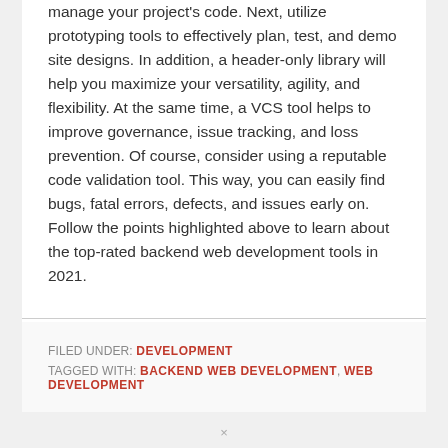manage your project's code. Next, utilize prototyping tools to effectively plan, test, and demo site designs. In addition, a header-only library will help you maximize your versatility, agility, and flexibility. At the same time, a VCS tool helps to improve governance, issue tracking, and loss prevention. Of course, consider using a reputable code validation tool. This way, you can easily find bugs, fatal errors, defects, and issues early on. Follow the points highlighted above to learn about the top-rated backend web development tools in 2021.
FILED UNDER: DEVELOPMENT
TAGGED WITH: BACKEND WEB DEVELOPMENT, WEB DEVELOPMENT